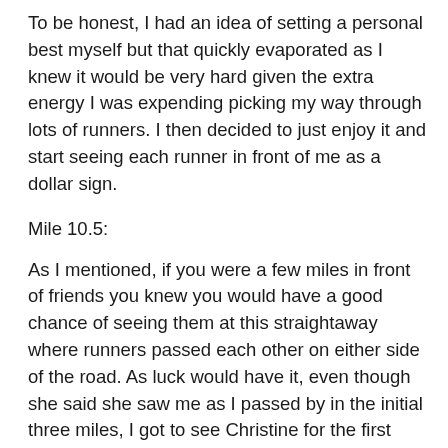To be honest, I had an idea of setting a personal best myself but that quickly evaporated as I knew it would be very hard given the extra energy I was expending picking my way through lots of runners. I then decided to just enjoy it and start seeing each runner in front of me as a dollar sign.
Mile 10.5:
As I mentioned, if you were a few miles in front of friends you knew you would have a good chance of seeing them at this straightaway where runners passed each other on either side of the road. As luck would have it, even though she said she saw me as I passed by in the initial three miles, I got to see Christine for the first time here. She looked good. I was extremely pleased. I think I wanted her to do well more than I wanted for myself. For people who only run a few marathons a year, the importance and success/failure of one race weigh greater than with those constant ‘thoners like me. For example, Seoul was tough but I knew I had a chance of redemption 6 days later.
By this point, I had passed a vast majority of the people I